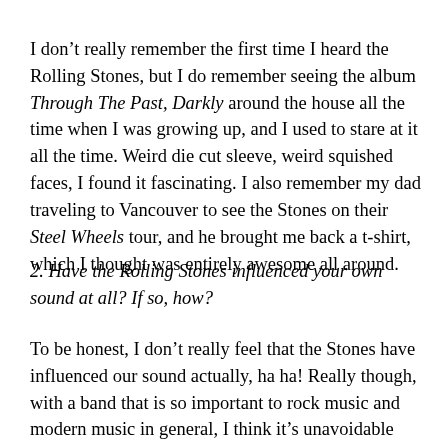I don't really remember the first time I heard the Rolling Stones, but I do remember seeing the album Through The Past, Darkly around the house all the time when I was growing up, and I used to stare at it all the time. Weird die cut sleeve, weird squished faces, I found it fascinating. I also remember my dad traveling to Vancouver to see the Stones on their Steel Wheels tour, and he brought me back a t-shirt, which I thought was entirely awesome all around.
2. Have the Rolling Stones influenced your own sound at all? If so, how?
To be honest, I don't really feel that the Stones have influenced our sound actually, ha ha! Really though, with a band that is so important to rock music and modern music in general, I think it's unavoidable that their influence has crept